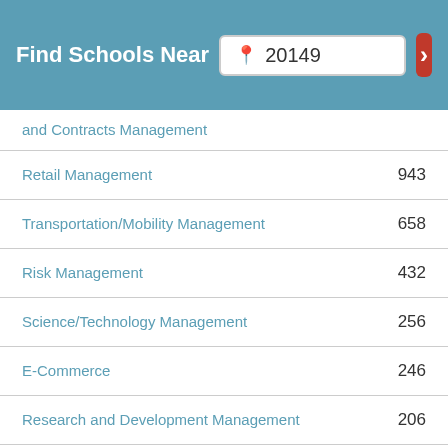[Figure (screenshot): Find Schools Near search bar with zip code 20149 and red arrow button]
and Contracts Management
Retail Management	943
Transportation/Mobility Management	658
Risk Management	432
Science/Technology Management	256
E-Commerce	246
Research and Development Management	206
Customer Service Management	194